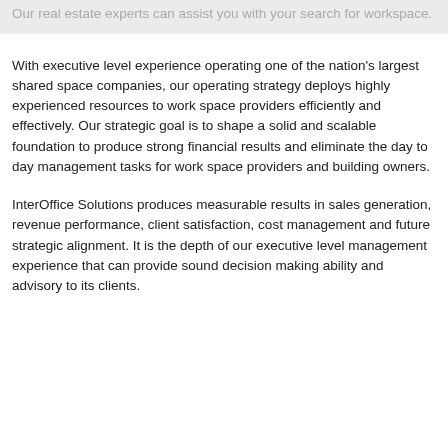Our real estate experts can assist you with your search for workspace.
With executive level experience operating one of the nation's largest shared space companies, our operating strategy deploys highly experienced resources to work space providers efficiently and effectively. Our strategic goal is to shape a solid and scalable foundation to produce strong financial results and eliminate the day to day management tasks for work space providers and building owners.
InterOffice Solutions produces measurable results in sales generation, revenue performance, client satisfaction, cost management and future strategic alignment. It is the depth of our executive level management experience that can provide sound decision making ability and advisory to its clients.